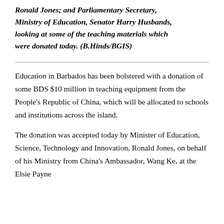Ronald Jones; and Parliamentary Secretary, Ministry of Education, Senator Harry Husbands, looking at some of the teaching materials which were donated today. (B.Hinds/BGIS)
Education in Barbados has been bolstered with a donation of some BDS $10 million in teaching equipment from the People's Republic of China, which will be allocated to schools and institutions across the island.
The donation was accepted today by Minister of Education, Science, Technology and Innovation, Ronald Jones, on behalf of his Ministry from China's Ambassador, Wang Ke, at the Elsie Payne